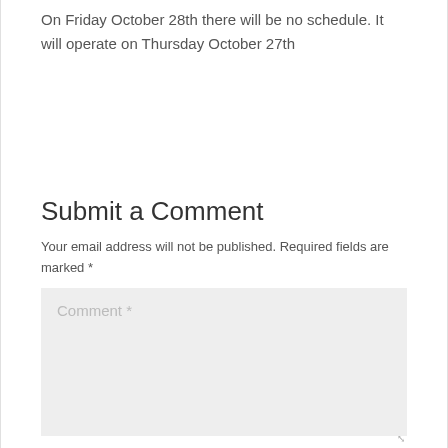On Friday October 28th there will be no schedule. It will operate on Thursday October 27th
Submit a Comment
Your email address will not be published. Required fields are marked *
Comment *